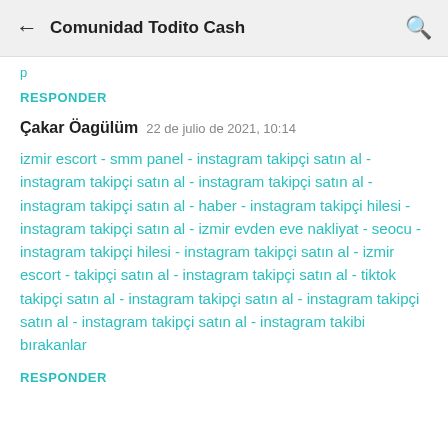← Comunidad Todito Cash 🔍
p
RESPONDER
Çakar Öagülüm  22 de julio de 2021, 10:14
izmir escort - smm panel - instagram takipçi satın al - instagram takipçi satın al - instagram takipçi satın al - instagram takipçi satın al - haber - instagram takipçi hilesi - instagram takipçi satın al - izmir evden eve nakliyat - seocu - instagram takipçi hilesi - instagram takipçi satın al - izmir escort - takipçi satın al - instagram takipçi satın al - tiktok takipçi satın al - instagram takipçi satın al - instagram takipçi satın al - instagram takipçi satın al - instagram takibi bırakanlar
RESPONDER